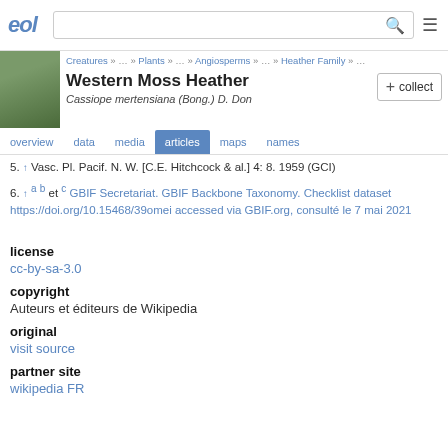EOL | Western Moss Heather - Cassiope mertensiana (Bong.) D. Don
Creatures » … » Plants » … » Angiosperms » … » Heather Family » …
Western Moss Heather
Cassiope mertensiana (Bong.) D. Don
5. ↑ Vasc. Pl. Pacif. N. W. [C.E. Hitchcock & al.] 4: 8. 1959 (GCI)
6. ↑ a b et c GBIF Secretariat. GBIF Backbone Taxonomy. Checklist dataset https://doi.org/10.15468/39omei accessed via GBIF.org, consulté le 7 mai 2021
license
cc-by-sa-3.0
copyright
Auteurs et éditeurs de Wikipedia
original
visit source
partner site
wikipedia FR